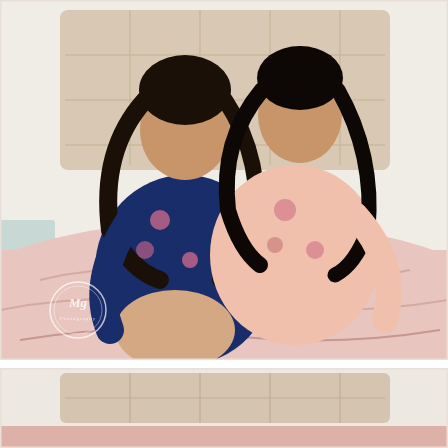[Figure (photo): Two women in floral robes sitting together on a pink bed in front of a padded headboard. The woman on the left wears a navy blue floral robe and the woman on the right wears a light pink floral robe. Both are smiling toward the camera. A watermark logo is visible in the lower left corner of the photo.]
[Figure (photo): Partial/cropped bottom photo showing the top portion of a similar bedroom scene — the padded headboard and pink bedding are visible, beginning of another photograph.]